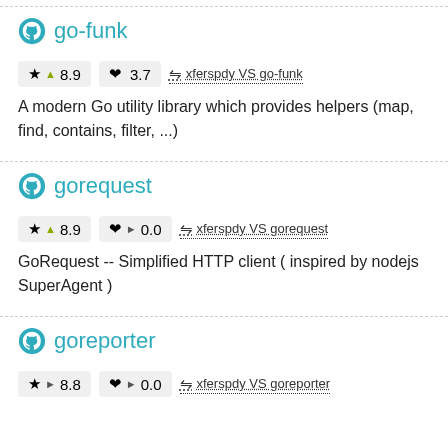go-funk
★ ▲ 8.9   ♥ 3.7   ⇌ xferspdy VS go-funk
A modern Go utility library which provides helpers (map, find, contains, filter, ...)
gorequest
★ ▲ 8.9   ♥ ▶ 0.0   ⇌ xferspdy VS gorequest
GoRequest -- Simplified HTTP client ( inspired by nodejs SuperAgent )
goreporter
★ ▶ 8.8   ♥ ▶ 0.0   ⇌ xferspdy VS goreporter